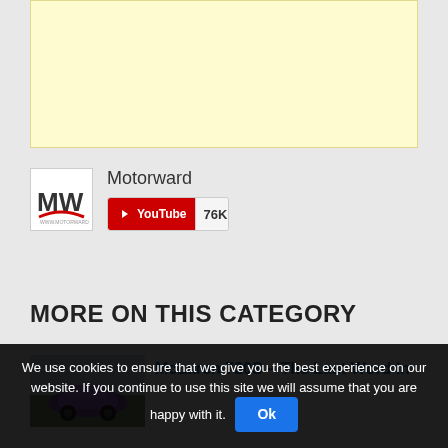[Figure (other): Advertisement banner with pale yellow background]
[Figure (logo): Motorward MW logo with red swoosh, white background]
Motorward
[Figure (other): YouTube subscribe button showing 76K subscribers]
MORE ON THIS CATEGORY
[Figure (photo): Thumbnail of a purple McLaren sports car]
McLaren 720S – The Last Word In
We use cookies to ensure that we give you the best experience on our website. If you continue to use this site we will assume that you are happy with it. Ok